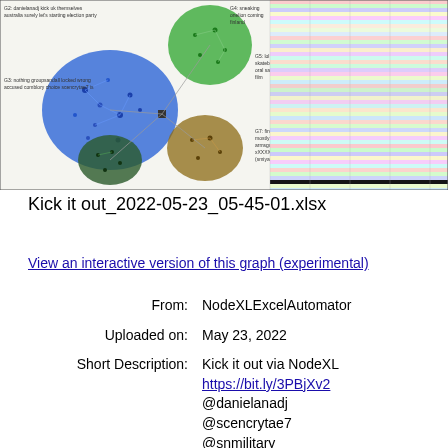[Figure (network-graph): A network graph visualization showing clusters of nodes connected by edges. Left side shows several circular cluster groups in blue, green, and brown colors with text labels like 'G2: danielanadj kick uk themselves australia surely let's starting election party', 'G3: nothing groupsandall locked wrong accused comblory choice scencrytae7 is', 'G5: lol turfte terf skateboard girl went oral saying snlor film', 'G7: find light wave mostly denrown armsguards writer xXXXXcria…(smiyad…'. Right side shows a dense matrix/adjacency view with colorful small icons.]
Kick it out_2022-05-23_05-45-01.xlsx
View an interactive version of this graph (experimental)
From: NodeXLExcelAutomator
Uploaded on: May 23, 2022
Short Description: Kick it out via NodeXL https://bit.ly/3PBjXv2 @danielanadj @scencrytae7 @snmilitary @…